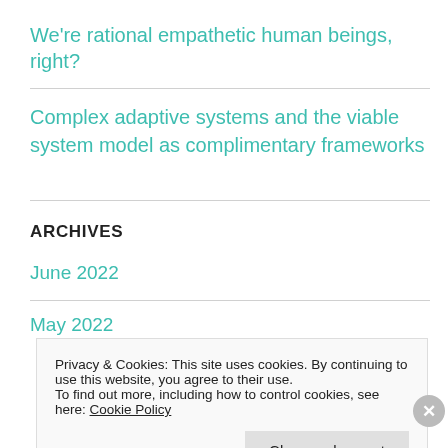We're rational empathetic human beings, right?
Complex adaptive systems and the viable system model as complimentary frameworks
ARCHIVES
June 2022
May 2022
Privacy & Cookies: This site uses cookies. By continuing to use this website, you agree to their use.
To find out more, including how to control cookies, see here: Cookie Policy
Close and accept